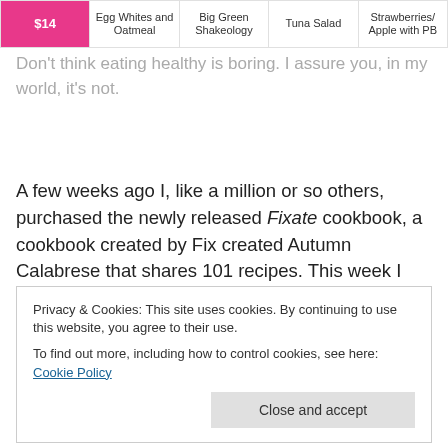|  | Egg Whites and Oatmeal | Big Green Shakeology | Tuna Salad | Strawberries and Apple with PB |
| --- | --- | --- | --- | --- |
| $14 | Egg Whites and Oatmeal | Big Green Shakeology | Tuna Salad | Apple with PB |
Don't think eating healthy is boring. I assure you, in my world, it's not.
A few weeks ago I, like a million or so others, purchased the newly released Fixate cookbook, a cookbook created by Fix created Autumn Calabrese that shares 101 recipes. This week I made a few of the recipes and have to share
Privacy & Cookies: This site uses cookies. By continuing to use this website, you agree to their use.
To find out more, including how to control cookies, see here: Cookie Policy